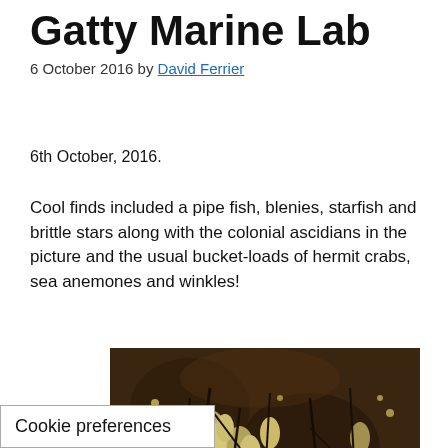Gatty Marine Lab
6 October 2016 by David Ferrier
6th October, 2016.
Cool finds included a pipe fish, blenies, starfish and brittle stars along with the colonial ascidians in the picture and the usual bucket-loads of hermit crabs, sea anemones and winkles!
[Figure (photo): Close-up photograph of colonial ascidians showing yellow-cream colored colonial organisms with branching dark structures against a dark brown background.]
Cookie preferences